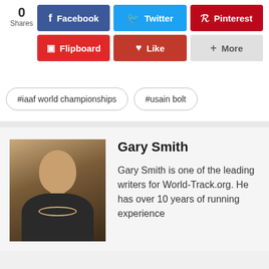[Figure (screenshot): Social sharing buttons: Facebook, Twitter, Pinterest, Flipboard, Like, More; with share count showing 0]
#iaaf world championships
#usain bolt
Gary Smith
Gary Smith is one of the leading writers for World-Track.org. He has over 10 years of running experience